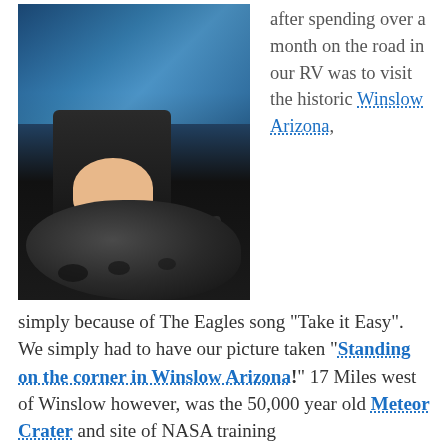[Figure (photo): A man in a black jacket standing behind a large dark meteorite or rock specimen, with a display screen showing an aerial/geological image in the background.]
after spending over a month on the road in our RV was to visit the historic Winslow Arizona, simply because of The Eagles song “Take it Easy”. We simply had to have our picture taken “Standing on the corner in Winslow Arizona!” 17 Miles west of Winslow however, was the 50,000 year old Meteor Crater and site of NASA training